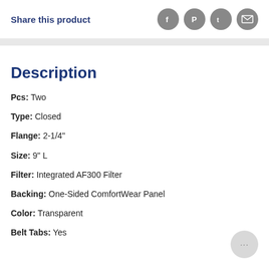Share this product
Description
Pcs: Two
Type: Closed
Flange: 2-1/4"
Size: 9" L
Filter: Integrated AF300 Filter
Backing: One-Sided ComfortWear Panel
Color: Transparent
Belt Tabs: Yes